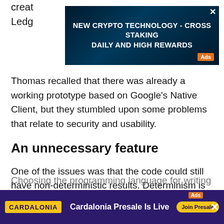creat… Ledg…
[Figure (other): Advertisement banner: NEW CRYPTO TECHNOLOGY - CROSS STAKING DAILY AND HIGH REWARDS. Dark blue/teal background with digital graphic. Ads badge.]
Thomas recalled that there was already a working prototype based on Google's Native Client, but they stumbled upon some problems that relate to security and usability.
An unnecessary feature
One of the issues was that the code could still have non-deterministic results. Determinism is at the core of XRP's utility as a means of payments.
Choosing the programming language for writing smar…
[Figure (other): Advertisement banner: Cardalonia Presale Is Live. Join Presale button. Dark purple background. Cardalonia logo in yellow.]